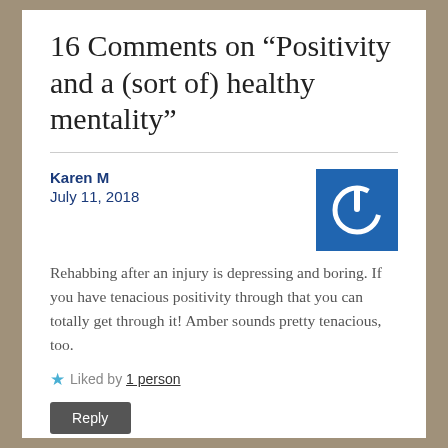16 Comments on “Positivity and a (sort of) healthy mentality”
Karen M
July 11, 2018
Rehabbing after an injury is depressing and boring. If you have tenacious positivity through that you can totally get through it! Amber sounds pretty tenacious, too.
Liked by 1 person
Reply
the_everything_pony